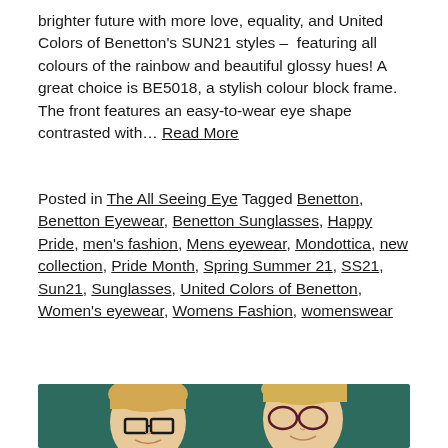brighter future with more love, equality, and United Colors of Benetton's SUN21 styles – featuring all colours of the rainbow and beautiful glossy hues! A great choice is BE5018, a stylish colour block frame. The front features an easy-to-wear eye shape contrasted with… Read More
Posted in The All Seeing Eye Tagged Benetton, Benetton Eyewear, Benetton Sunglasses, Happy Pride, men's fashion, Mens eyewear, Mondottica, new collection, Pride Month, Spring Summer 21, SS21, Sun21, Sunglasses, United Colors of Benetton, Women's eyewear, Womens Fashion, womenswear
[Figure (photo): Two blonde children wearing glasses, smiling, against a dark teal/green background. Left child wears dark rectangular glasses, right child wears dark rounded cat-eye style glasses.]